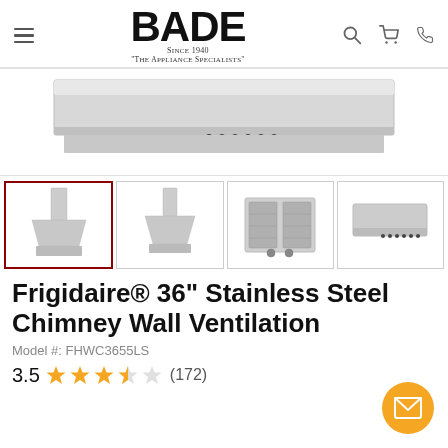BADE Since 1940 "The Appliance Specialists"
[Figure (photo): Bottom portion of a stainless steel chimney wall ventilation hood against white background]
[Figure (photo): Thumbnail 1 (selected): Front view of stainless steel chimney wall ventilation hood]
[Figure (photo): Thumbnail 2: Side/angle view of stainless steel chimney wall ventilation hood]
[Figure (photo): Thumbnail 3: Underside/filter view of stainless steel chimney wall ventilation hood]
[Figure (photo): Thumbnail 4: Top/flat view of stainless steel chimney wall ventilation hood]
Frigidaire® 36" Stainless Steel Chimney Wall Ventilation
Model #: FHWC3655LS
3.5 ★★★★☆ (172)